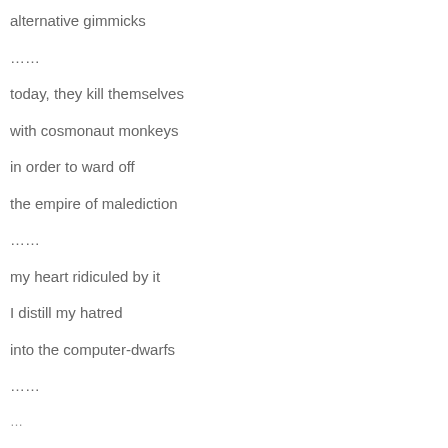alternative gimmicks
……
today, they kill themselves
with cosmonaut monkeys
in order to ward off
the empire of malediction
……
my heart ridiculed by it
I distill my hatred
into the computer-dwarfs
……
…(continues)